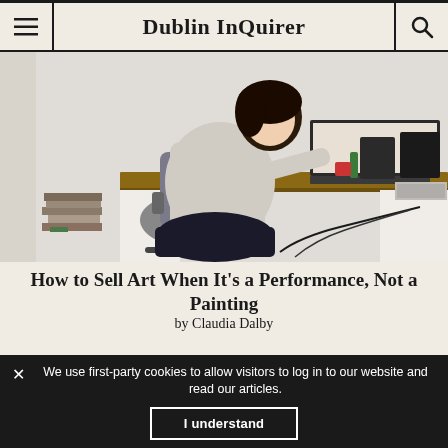Dublin InQuirer
[Figure (photo): A person with dark hair sitting sideways in an office chair at a wooden desk, working on a laptop. Studio monitors, a mixer, and other equipment are visible on the desk. Books are stacked on the floor to the left.]
How to Sell Art When It's a Performance, Not a Painting
by Claudia Dalby
We use first-party cookies to allow visitors to log in to our website and read our articles.
I understand